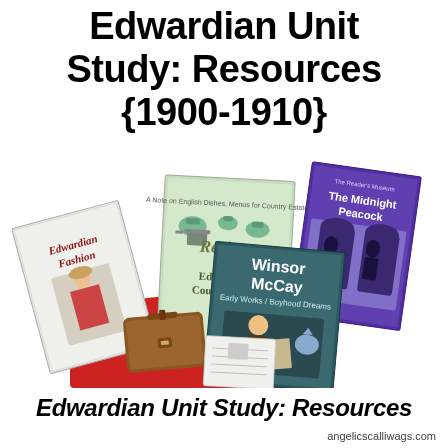Edwardian Unit Study: Resources {1900-1910}
[Figure (photo): Collection of Edwardian-era books and items including 'Edwardian Fashion', 'Recipes from an Edwardian Country House', 'The Midnight Peacock', 'Winsor McCay: Early Works', a brown leather satchel, a red cloth, and a small worksheet/booklet arranged together.]
Edwardian Unit Study: Resources
angelicscalliwags.com